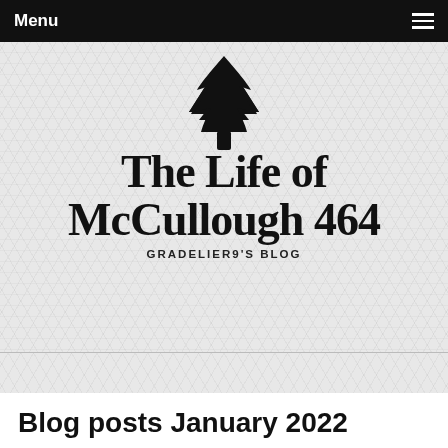Menu
[Figure (logo): Blog logo: hand-drawn pine tree silhouette above handwritten-style text 'The Life of McCullough 464' with subtitle 'GRADELIER9'S BLOG']
Blog posts January 2022